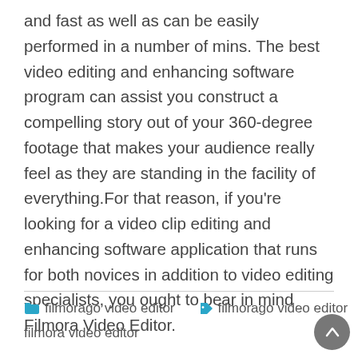and fast as well as can be easily performed in a number of mins. The best video editing and enhancing software program can assist you construct a compelling story out of your 360-degree footage that makes your audience really feel as they are standing in the facility of everything.For that reason, if you're looking for a video clip editing and enhancing software application that runs for both novices in addition to video editing specialists, you ought to bear in mind Filmora Video Editor.
filmorago video editor  filmorago video editor  filmora video editor